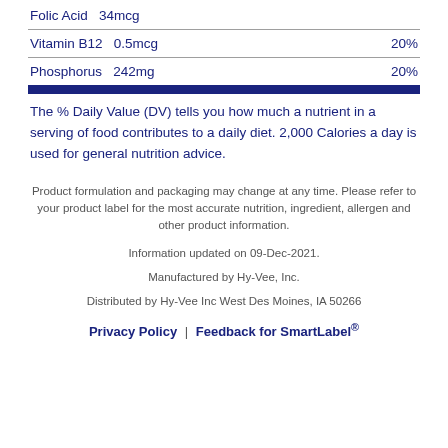Folic Acid   34mcg
Vitamin B12   0.5mcg   20%
Phosphorus   242mg   20%
The % Daily Value (DV) tells you how much a nutrient in a serving of food contributes to a daily diet. 2,000 Calories a day is used for general nutrition advice.
Product formulation and packaging may change at any time. Please refer to your product label for the most accurate nutrition, ingredient, allergen and other product information.
Information updated on 09-Dec-2021.
Manufactured by Hy-Vee, Inc.
Distributed by Hy-Vee Inc West Des Moines, IA 50266
Privacy Policy | Feedback for SmartLabel®